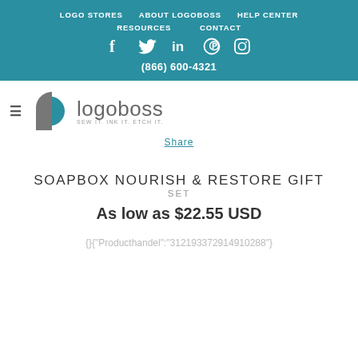LOGO STORES   ABOUT LOGOBOSS   HELP CENTER   RESOURCES   CONTACT
[Figure (logo): Logoboss logo with teal and grey icon and text 'logoboss SEW IT. INK IT. ETCH IT.']
Share
SOAPBOX NOURISH & RESTORE GIFT SET
As low as $22.55 USD
{}{"Producthandel":"312193372914910288"}